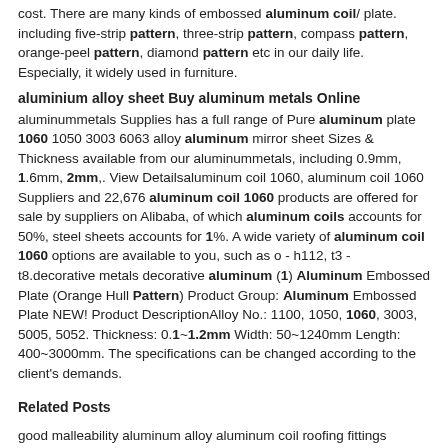cost. There are many kinds of embossed aluminum coil/ plate. including five-strip pattern, three-strip pattern, compass pattern, orange-peel pattern, diamond pattern etc in our daily life. Especially, it widely used in furniture.
aluminium alloy sheet Buy aluminum metals Online
aluminummetals Supplies has a full range of Pure aluminum plate 1060 1050 3003 6063 alloy aluminum mirror sheet Sizes & Thickness available from our aluminummetals, including 0.9mm, 1.6mm, 2mm,. View Detailsaluminum coil 1060, aluminum coil 1060 Suppliers and 22,676 aluminum coil 1060 products are offered for sale by suppliers on Alibaba, of which aluminum coils accounts for 50%, steel sheets accounts for 1%. A wide variety of aluminum coil 1060 options are available to you, such as o - h112, t3 - t8.decorative metals decorative aluminum (1) Aluminum Embossed Plate (Orange Hull Pattern) Product Group: Aluminum Embossed Plate NEW! Product DescriptionAlloy No.: 1100, 1050, 1060, 3003, 5005, 5052. Thickness: 0.1~1.2mm Width: 50~1240mm Length: 400~3000mm. The specifications can be changed according to the client's demands.
Related Posts
good malleability aluminum alloy aluminum coil roofing fittings